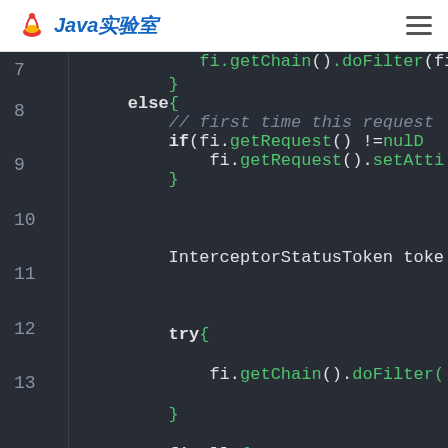Java实验室
[Figure (screenshot): Java code editor screenshot showing lines 7-20 of Java code with syntax highlighting on dark background. Line numbers visible on left. Code shows else block with comments, if statement with fi.getRequest(), fi.getChain().doFilter(), InterceptorStatusToken token, try block, and finally block.]